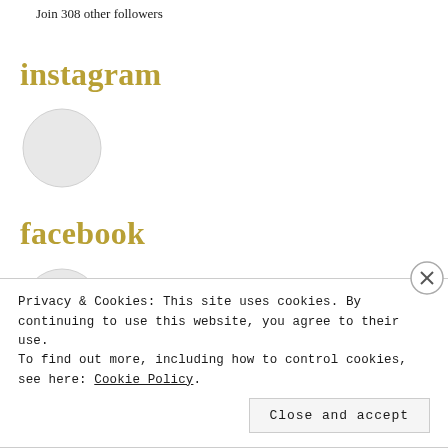Join 308 other followers
instagram
[Figure (illustration): Gray circle placeholder for Instagram profile image]
facebook
[Figure (illustration): Gray circle placeholder for Facebook profile image]
Privacy & Cookies: This site uses cookies. By continuing to use this website, you agree to their use.
To find out more, including how to control cookies, see here: Cookie Policy
Close and accept